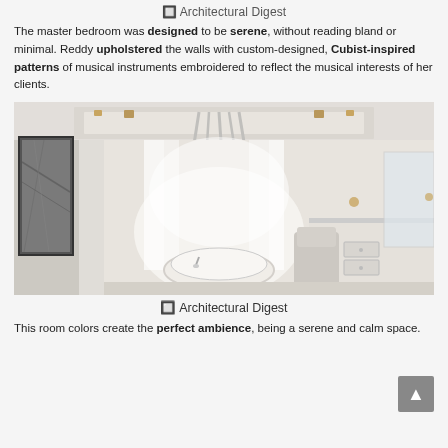⬜ Architectural Digest
The master bedroom was designed to be serene, without reading bland or minimal. Reddy upholstered the walls with custom-designed, Cubist-inspired patterns of musical instruments embroidered to reflect the musical interests of her clients.
[Figure (photo): Elegant luxury bathroom with a round freestanding soaking tub centered under a curved bay window with sheer white curtains. A sculptural silver chandelier hangs from a coffered white ceiling with brass accents. To the left is a framed black and white artwork on the wall. To the right is a built-in white vanity with drawers and a chair. The floor has a fluffy white rug. The overall color palette is soft white, cream, and warm neutral tones.]
⬜ Architectural Digest
This room colors create the perfect ambience, being a serene and calm space.